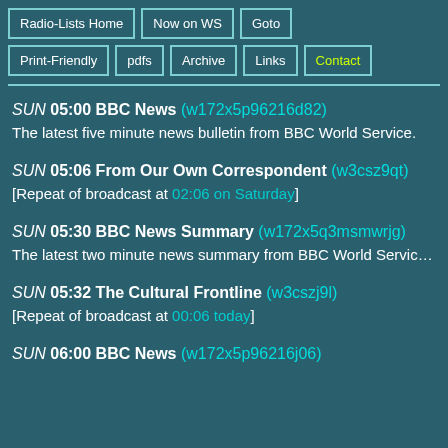Radio-Lists Home
Now on WS
Goto
Print-Friendly
pdfs
Archive
Links
Contact
SUN 05:00 BBC News (w172x5p96216d82)
The latest five minute news bulletin from BBC World Service.
SUN 05:06 From Our Own Correspondent (w3csz9qt)
[Repeat of broadcast at 02:06 on Saturday]
SUN 05:30 BBC News Summary (w172x5q3msmwrjg)
The latest two minute news summary from BBC World Service.
SUN 05:32 The Cultural Frontline (w3cszj9l)
[Repeat of broadcast at 00:06 today]
SUN 06:00 BBC News (w172x5p96216j06)